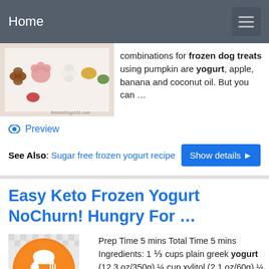Home
[Figure (photo): Photo of colorful dog treats shaped like bones and paw prints on a white surface, with watermark text 'BreezeDogs101.com']
combinations for frozen dog treats using pumpkin are yogurt, apple, banana and coconut oil. But you can …
Preview
See Also: Sugar free frozen yogurt recipe
Show details ▶
Easy Keto Frozen Yogurt NoChurn! Hungry For …
[Figure (illustration): Orange circular icon with white chef hat, spoon and fork crossed, on light gray checkered background]
Prep Time 5 mins Total Time 5 mins Ingredients: 1 ⅓ cups plain greek yogurt (12.3 oz/350g) ¼ cup xylitol (2.1 oz/60g) ¼ cup heavy cream (2 fl